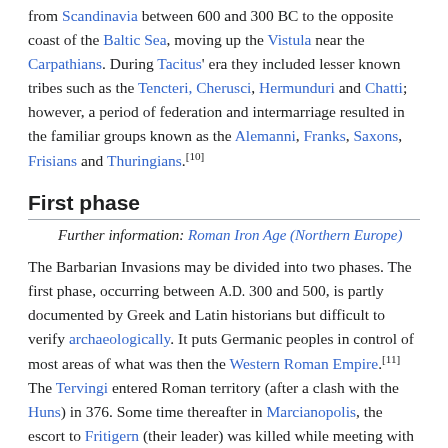from Scandinavia between 600 and 300 BC to the opposite coast of the Baltic Sea, moving up the Vistula near the Carpathians. During Tacitus' era they included lesser known tribes such as the Tencteri, Cherusci, Hermunduri and Chatti; however, a period of federation and intermarriage resulted in the familiar groups known as the Alemanni, Franks, Saxons, Frisians and Thuringians.[10]
First phase
Further information: Roman Iron Age (Northern Europe)
The Barbarian Invasions may be divided into two phases. The first phase, occurring between A.D. 300 and 500, is partly documented by Greek and Latin historians but difficult to verify archaeologically. It puts Germanic peoples in control of most areas of what was then the Western Roman Empire.[11] The Tervingi entered Roman territory (after a clash with the Huns) in 376. Some time thereafter in Marcianopolis, the escort to Fritigern (their leader) was killed while meeting with Lupicinus.[12] The Tervingi rebelled, and the Visigoths, a group derived either from the Tervingi or from a fusion of mainly Gothic groups, eventually invaded Italy and sacked Rome in 410, before settling in Gaul, and then, 50 years later, in Iberia,